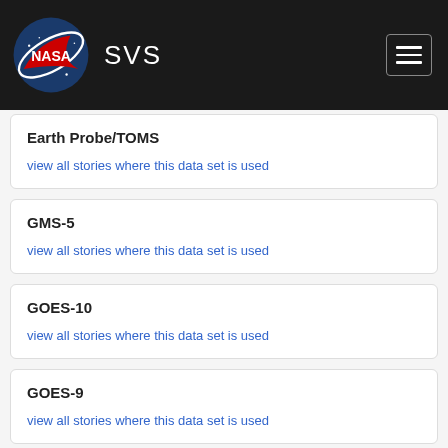NASA SVS
Earth Probe/TOMS
view all stories where this data set is used
GMS-5
view all stories where this data set is used
GOES-10
view all stories where this data set is used
GOES-9
view all stories where this data set is used